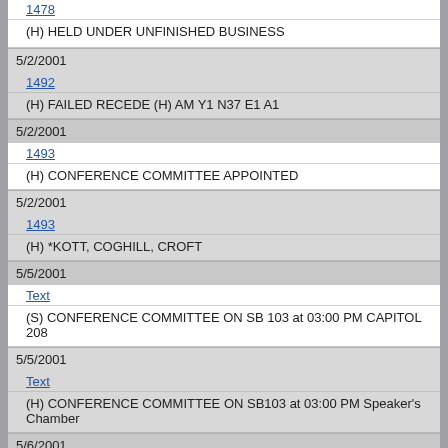1478
(H) HELD UNDER UNFINISHED BUSINESS
5/2/2001
1492
(H) FAILED RECEDE (H) AM Y1 N37 E1 A1
5/2/2001
1493
(H) CONFERENCE COMMITTEE APPOINTED
5/2/2001
1493
(H) *KOTT, COGHILL, CROFT
5/5/2001
Text
(S) CONFERENCE COMMITTEE ON SB 103 at 03:00 PM CAPITOL 208
5/5/2001
Text
(H) CONFERENCE COMMITTEE ON SB103 at 03:00 PM Speaker's Chamber
5/6/2001
1588
(H) LIMITED POWERS FREE CONFERENCE GRANTED
5/6/2001